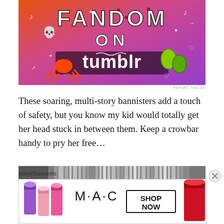[Figure (illustration): Colorful Tumblr 'Fandom on Tumblr' promotional banner with orange-to-purple gradient background and white doodles including skulls, hearts, music notes, and cartoon characters]
These soaring, multi-story bannisters add a touch of safety, but you know my kid would totally get her head stuck in between them. Keep a crowbar handy to pry her free…
[Figure (photo): Grayscale photograph of multi-story staircase bannisters/railings]
Advertisements
[Figure (screenshot): MAC Cosmetics advertisement showing colorful lipsticks and MAC logo with SHOP NOW button]